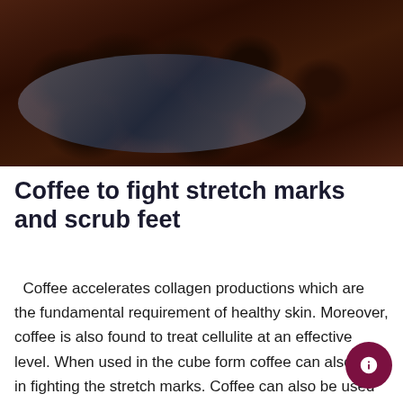[Figure (photo): Close-up photo of roasted coffee beans piled on a decorative blue and white ceramic plate/spoon, with more coffee beans scattered on a burlap surface in the background, and a white bowl partially visible in the upper right corner.]
Coffee to fight stretch marks and scrub feet
Coffee accelerates collagen productions which are the fundamental requirement of healthy skin. Moreover, coffee is also found to treat cellulite at an effective level. When used in the cube form coffee can also help in fighting the stretch marks. Coffee can also be used as a powerful scrub for your feet and when you add 1-2 drops of peppermint oil it makes into a strong natural anti-aching agent and odor repellent fo